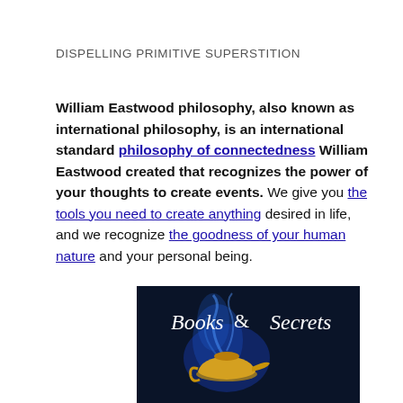DISPELLING PRIMITIVE SUPERSTITION
William Eastwood philosophy, also known as international philosophy, is an international standard philosophy of connectedness William Eastwood created that recognizes the power of your thoughts to create events. We give you the tools you need to create anything desired in life, and we recognize the goodness of your human nature and your personal being.
[Figure (illustration): Dark blue banner image with a golden genie lamp and blue smoke, with white text reading 'Books & Secrets']